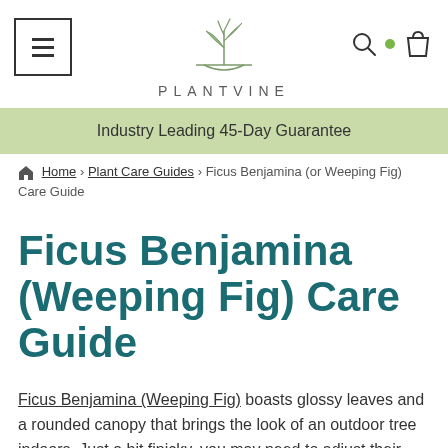[Figure (logo): PlantVine logo with stylized plant/vine illustration above the word PLANTVINE in spaced capitals, hamburger menu icon on left, search and cart icons on right]
Industry Leading 45-Day Guarantee
Home > Plant Care Guides > Ficus Benjamina (or Weeping Fig) Care Guide
Ficus Benjamina (Weeping Fig) Care Guide
Ficus Benjamina (Weeping Fig) boasts glossy leaves and a rounded canopy that brings the look of an outdoor tree indoors. Just a bit finicky, you may need to adjust their care from time to